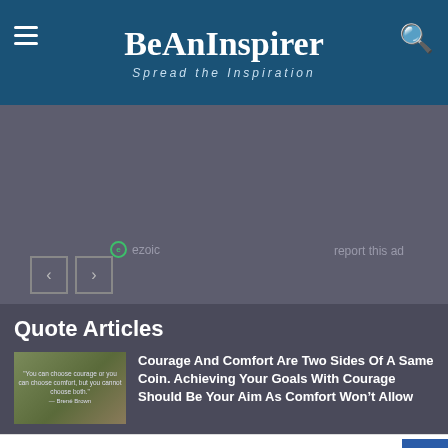BeAnInspirer — Spread the Inspiration
[Figure (screenshot): Advertisement area with ezoic branding and 'report this ad' link, navigation arrows below]
Quote Articles
[Figure (photo): Thumbnail image with inspirational quote text overlay]
Courage And Comfort Are Two Sides Of A Same Coin. Achieving Your Goals With Courage Should Be Your Aim As Comfort Won't Allow
7 SHARES
In-store shopping